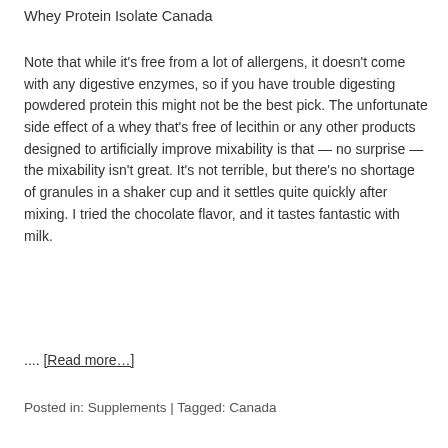Whey Protein Isolate Canada
Note that while it's free from a lot of allergens, it doesn't come with any digestive enzymes, so if you have trouble digesting powdered protein this might not be the best pick. The unfortunate side effect of a whey that's free of lecithin or any other products designed to artificially improve mixability is that — no surprise — the mixability isn't great. It's not terrible, but there's no shortage of granules in a shaker cup and it settles quite quickly after mixing. I tried the chocolate flavor, and it tastes fantastic with milk.
.... [Read more…]
Posted in: Supplements | Tagged: Canada